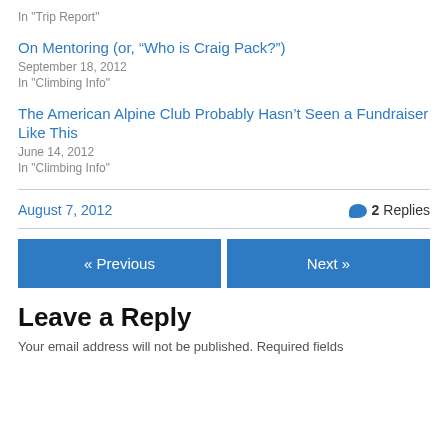In "Trip Report"
On Mentoring (or, “Who is Craig Pack?”)
September 18, 2012
In "Climbing Info"
The American Alpine Club Probably Hasn’t Seen a Fundraiser Like This
June 14, 2012
In "Climbing Info"
August 7, 2012
2 Replies
« Previous
Next »
Leave a Reply
Your email address will not be published. Required fields